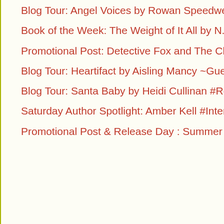Blog Tour: Angel Voices by Rowan Speedwell #Review...
Book of the Week: The Weight of It All by N.R. Wal...
Promotional Post: Detective Fox and The Christmas ...
Blog Tour: Heartifact by Aisling Mancy ~Guest Post...
Blog Tour: Santa Baby by Heidi Cullinan #Review #E...
Saturday Author Spotlight: Amber Kell #Interview #...
Promotional Post & Release Day : Summer Lessons
Newer Post